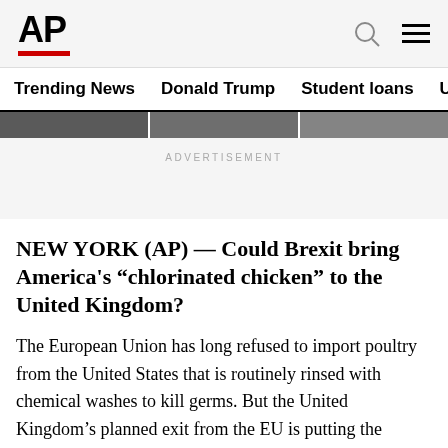AP
Trending News   Donald Trump   Student loans   U.S. Open Tenn
ADVERTISEMENT
NEW YORK (AP) — Could Brexit bring America's “chlorinated chicken” to the United Kingdom?
The European Union has long refused to import poultry from the United States that is routinely rinsed with chemical washes to kill germs. But the United Kingdom’s planned exit from the EU is putting the practice back in the spotlight, with Prime Minister Boris Johnson…